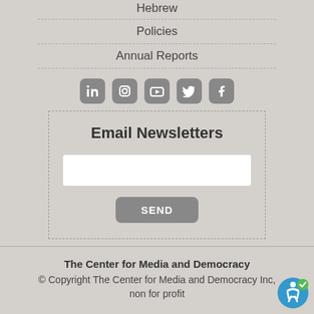Hebrew
Policies
Annual Reports
[Figure (illustration): Social media icons: LinkedIn, Instagram, YouTube, Twitter, Facebook]
Email Newsletters
[Figure (screenshot): Email input field and SEND button for newsletter subscription]
The Center for Media and Democracy
© Copyright The Center for Media and Democracy Inc, non for profit